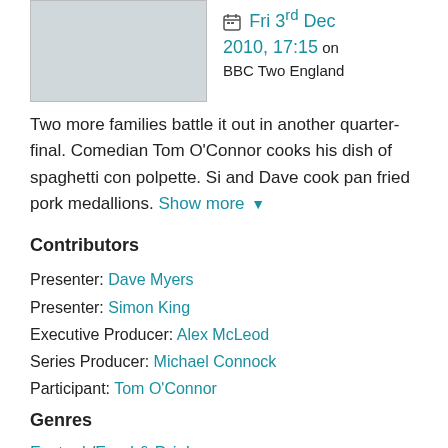Fri 3rd Dec 2010, 17:15 on BBC Two England
Two more families battle it out in another quarter-final. Comedian Tom O'Connor cooks his dish of spaghetti con polpette. Si and Dave cook pan fried pork medallions. Show more
Contributors
Presenter: Dave Myers
Presenter: Simon King
Executive Producer: Alex McLeod
Series Producer: Michael Connock
Participant: Tom O'Connor
Genres
Factual / Food & Drink
Entertainment